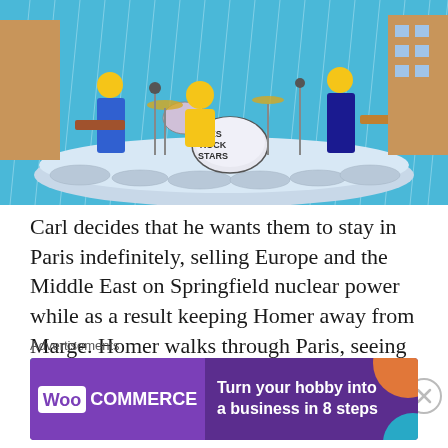[Figure (illustration): Animated cartoon scene showing a band performing on a stage in the rain. A drum kit with 'LES ROCK STARS' written on the bass drum is visible, with cartoon musicians in yellow and blue playing instruments.]
Carl decides that he wants them to stay in Paris indefinitely, selling Europe and the Middle East on Springfield nuclear power while as a result keeping Homer away from Marge. Homer walks through Paris, seeing reminders of Marge everywhere (plus a Moe gargoyle).
Advertisements
[Figure (other): WooCommerce advertisement banner with purple background. Text reads: 'Turn your hobby into a business in 8 steps'. WooCommerce logo on the left with teal, orange, and blue geometric shapes as decoration.]